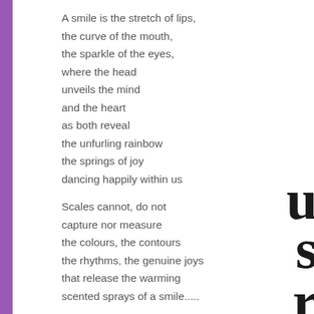A smile is the stretch of lips,
the curve of the mouth,
the sparkle of the eyes,
where the head
unveils the mind
and the heart
as both reveal
the unfurling rainbow
the springs of joy
dancing happily within us

Scales cannot, do not
capture nor measure
the colours, the contours
the rhythms, the genuine joys
that release the warming
scented sprays of a smile.....